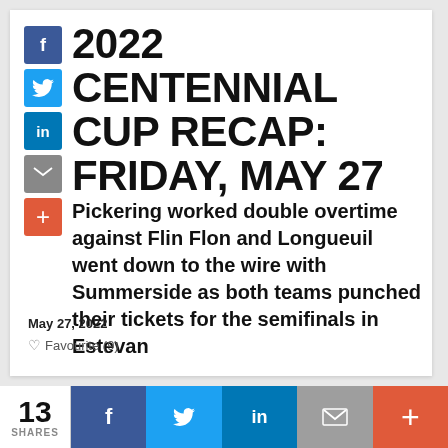2022 CENTENNIAL CUP RECAP: FRIDAY, MAY 27
Pickering worked double overtime against Flin Flon and Longueuil went down to the wire with Summerside as both teams punched their tickets for the semifinals in Estevan
May 27, 2022
Favourite (9)
13 SHARES